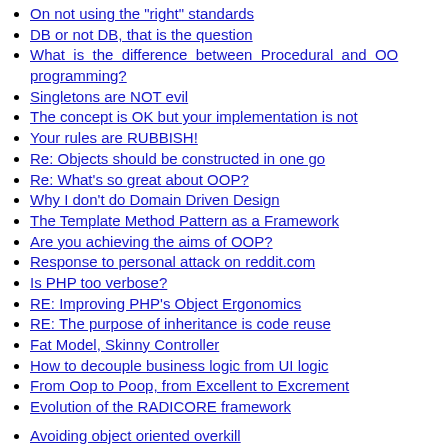On not using the "right" standards
DB or not DB, that is the question
What is the difference between Procedural and OO programming?
Singletons are NOT evil
The concept is OK but your implementation is not
Your rules are RUBBISH!
Re: Objects should be constructed in one go
Re: What's so great about OOP?
Why I don't do Domain Driven Design
The Template Method Pattern as a Framework
Are you achieving the aims of OOP?
Response to personal attack on reddit.com
Is PHP too verbose?
RE: Improving PHP's Object Ergonomics
RE: The purpose of inheritance is code reuse
Fat Model, Skinny Controller
How to decouple business logic from UI logic
From Oop to Poop, from Excellent to Excrement
Evolution of the RADICORE framework
Avoiding object oriented overkill
Your Code: OOP or POO?
Amendment History